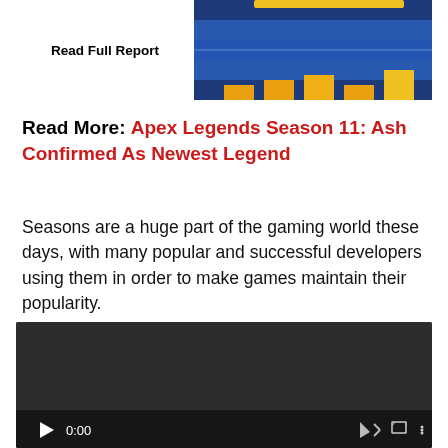[Figure (screenshot): Top portion of an article page showing a 'Read Full Report' button on a dark blue background with a partial game screenshot on the right.]
Read More: Apex Legends Season 11: Ash Confirmed As Newest Legend
Seasons are a huge part of the gaming world these days, with many popular and successful developers using them in order to make games maintain their popularity.
[Figure (screenshot): Embedded video player showing a dark/black frame with playback controls at the bottom: play button, time display 0:00, mute icon, fullscreen icon, and options icon.]